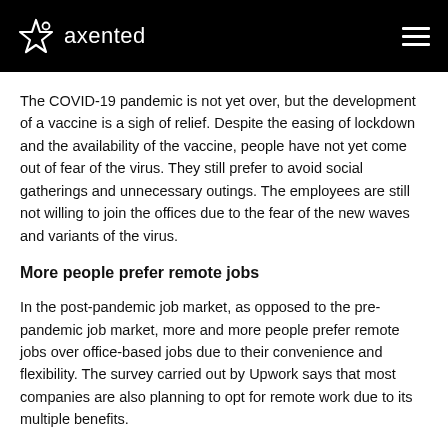axented
The COVID-19 pandemic is not yet over, but the development of a vaccine is a sigh of relief. Despite the easing of lockdown and the availability of the vaccine, people have not yet come out of fear of the virus. They still prefer to avoid social gatherings and unnecessary outings. The employees are still not willing to join the offices due to the fear of the new waves and variants of the virus.
More people prefer remote jobs
In the post-pandemic job market, as opposed to the pre-pandemic job market, more and more people prefer remote jobs over office-based jobs due to their convenience and flexibility. The survey carried out by Upwork says that most companies are also planning to opt for remote work due to its multiple benefits.